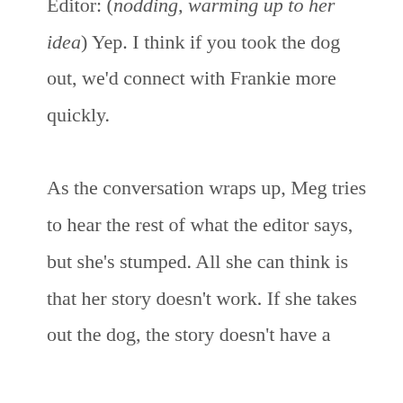Editor: (nodding, warming up to her idea) Yep. I think if you took the dog out, we'd connect with Frankie more quickly.

As the conversation wraps up, Meg tries to hear the rest of what the editor says, but she's stumped. All she can think is that her story doesn't work. If she takes out the dog, the story doesn't have a